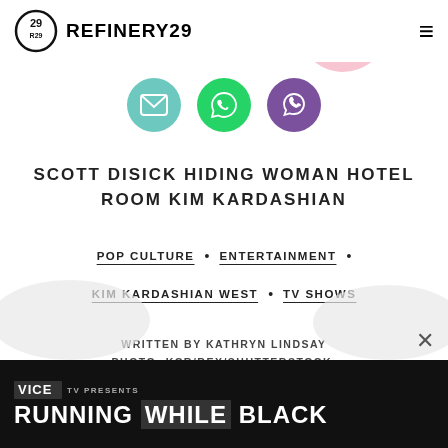REFINERY29
[Figure (screenshot): Three social sharing icons: email (teal circle), WhatsApp (green circle), Viber (purple circle)]
SCOTT DISICK HIDING WOMAN HOTEL ROOM KIM KARDASHIAN
POP CULTURE • ENTERTAINMENT •
KIM KARDASHIAN WEST • TV SHOWS
WRITTEN BY KATHRYN LINDSAY
PHOTO: KCR/REX/SHUTTERSTOCK.
[Figure (screenshot): VICE TV PRESENTS: RUNNING WHILE BLACK advertisement banner at bottom of page]